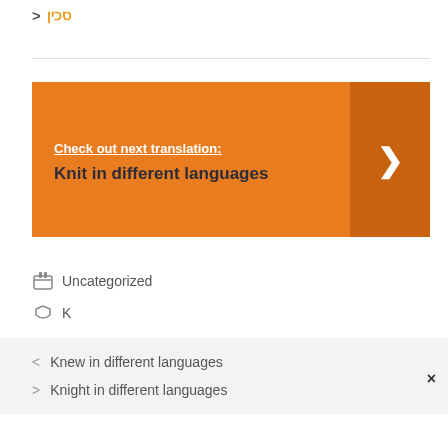> סכין
[Figure (infographic): Orange banner with text 'Check out next translation: Knit in different languages' and a dark orange right arrow button on the right side]
Uncategorized
K
< Knew in different languages
> Knight in different languages